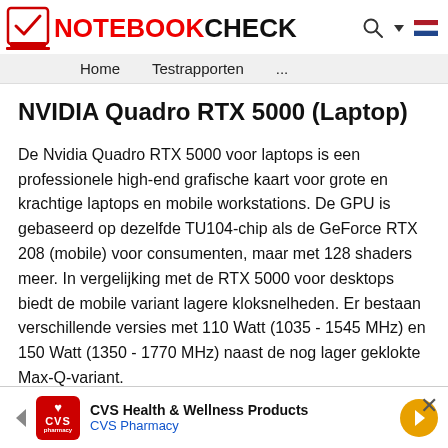NOTEBOOKCHECK — Home | Testrapporten | ...
NVIDIA Quadro RTX 5000 (Laptop)
De Nvidia Quadro RTX 5000 voor laptops is een professionele high-end grafische kaart voor grote en krachtige laptops en mobile workstations. De GPU is gebaseerd op dezelfde TU104-chip als de GeForce RTX 208 (mobile) voor consumenten, maar met 128 shaders meer. In vergelijking met de RTX 5000 voor desktops biedt de mobile variant lagere kloksnelheden. Er bestaan verschillende versies met 110 Watt (1035 - 1545 MHz) en 150 Watt (1350 - 1770 MHz) naast de nog lager geklokte Max-Q-variant.
[Figure (other): CVS Health & Wellness Products advertisement banner with CVS Pharmacy logo]